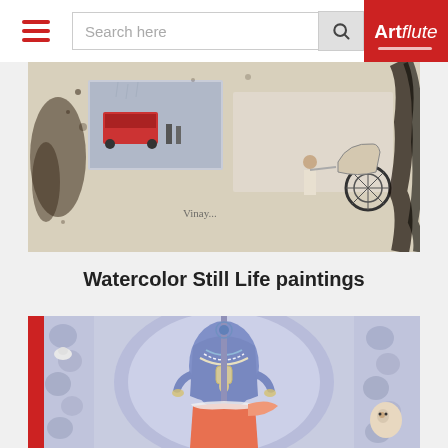[Figure (screenshot): Website header with hamburger menu, search bar, and Artflute logo on red background]
[Figure (photo): Watercolor painting showing a rickshaw puller and a tram scene in a mixed media artwork]
Watercolor Still Life paintings
[Figure (photo): Traditional Indian painting of a blue-skinned deity (possibly Shiva/Vishnu) holding a staff, with red border, wearing orange dhoti and jewelry]